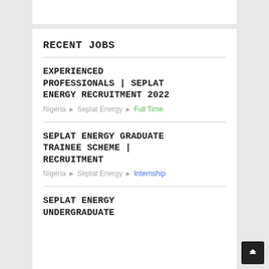RECENT JOBS
EXPERIENCED PROFESSIONALS | SEPLAT ENERGY RECRUITMENT 2022
Nigeria ▸ Seplat Energy ▸ Full Time
SEPLAT ENERGY GRADUATE TRAINEE SCHEME | RECRUITMENT
Nigeria ▸ Seplat Energy ▸ Internship
SEPLAT ENERGY UNDERGRADUATE